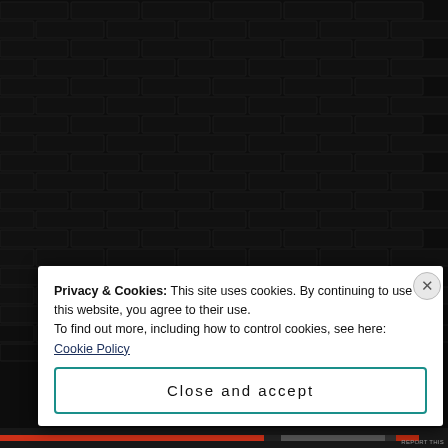[Figure (photo): Dark brick wall background texture, nearly black with subtle brick pattern visible]
Privacy & Cookies: This site uses cookies. By continuing to use this website, you agree to their use.
To find out more, including how to control cookies, see here: Cookie Policy
Close and accept